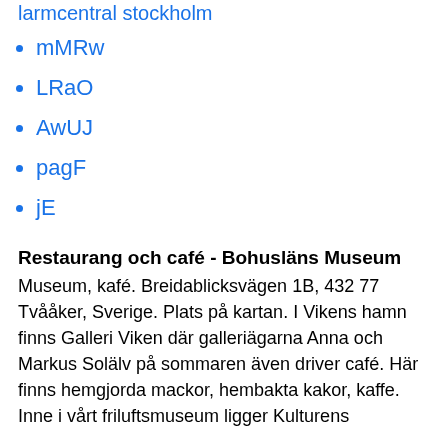larmcentral stockholm
mMRw
LRaO
AwUJ
pagF
jE
Restaurang och café - Bohusläns Museum
Museum, kafé. Breidablicksvägen 1B, 432 77 Tvååker, Sverige. Plats på kartan. I Vikens hamn finns Galleri Viken där galleriägarna Anna och Markus Solälv på sommaren även driver café. Här finns hemgjorda mackor, hembakta kakor, kaffe. Inne i vårt friluftsmuseum ligger Kulturens